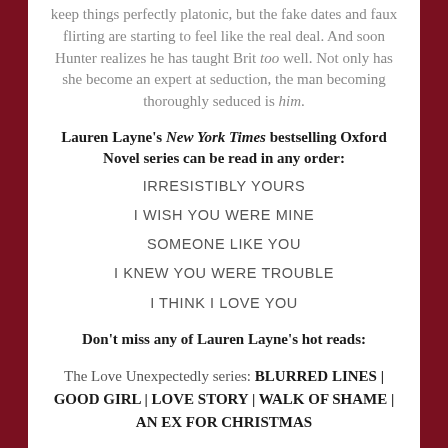keep things perfectly platonic, but the fake dates and faux flirting are starting to feel like the real deal. And soon Hunter realizes he has taught Brit too well. Not only has she become an expert at seduction, the man becoming thoroughly seduced is him.
Lauren Layne's New York Times bestselling Oxford Novel series can be read in any order:
IRRESISTIBLY YOURS
I WISH YOU WERE MINE
SOMEONE LIKE YOU
I KNEW YOU WERE TROUBLE
I THINK I LOVE YOU
Don't miss any of Lauren Layne's hot reads:
The Love Unexpectedly series: BLURRED LINES | GOOD GIRL | LOVE STORY | WALK OF SHAME | AN EX FOR CHRISTMAS